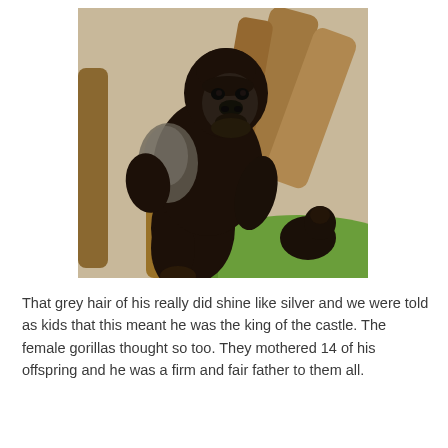[Figure (photo): A large silverback gorilla sitting on wooden logs in a zoo enclosure, viewed from the side. Another smaller gorilla is visible in the background on green grass. The gorilla has dark brown-black fur with a silvery-grey patch on its back.]
That grey hair of his really did shine like silver and we were told as kids that this meant he was the king of the castle. The female gorillas thought so too. They mothered 14 of his offspring and he was a firm and fair father to them all.